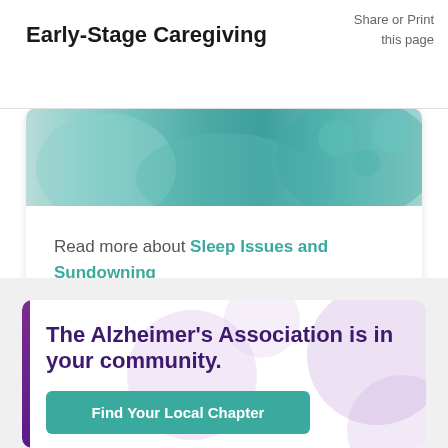Early-Stage Caregiving
Share or Print this page
[Figure (photo): Partial view of two people sitting together, one wearing a light blue top and the other wearing a teal floral pattern, cropped at top of card]
Read more about Sleep Issues and Sundowning
The Alzheimer’s Association is in your community.
Find Your Local Chapter